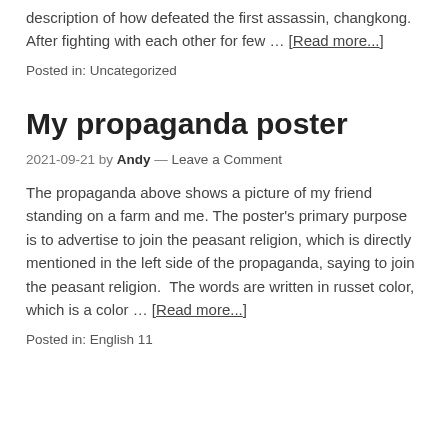description of how defeated the first assassin, changkong. After fighting with each other for few … [Read more...]
Posted in: Uncategorized
My propaganda poster
2021-09-21 by Andy — Leave a Comment
The propaganda above shows a picture of my friend standing on a farm and me. The poster's primary purpose is to advertise to join the peasant religion, which is directly mentioned in the left side of the propaganda, saying to join the peasant religion.  The words are written in russet color, which is a color … [Read more...]
Posted in: English 11